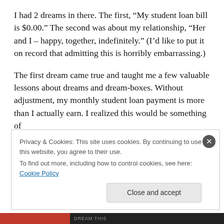I had 2 dreams in there. The first, “My student loan bill is $0.00.” The second was about my relationship, “Her and I – happy, together, indefinitely.” (I’d like to put it on record that admitting this is horribly embarrassing.)
The first dream came true and taught me a few valuable lessons about dreams and dream-boxes. Without adjustment, my monthly student loan payment is more than I actually earn. I realized this would be something of
Privacy & Cookies: This site uses cookies. By continuing to use this website, you agree to their use.
To find out more, including how to control cookies, see here: Cookie Policy